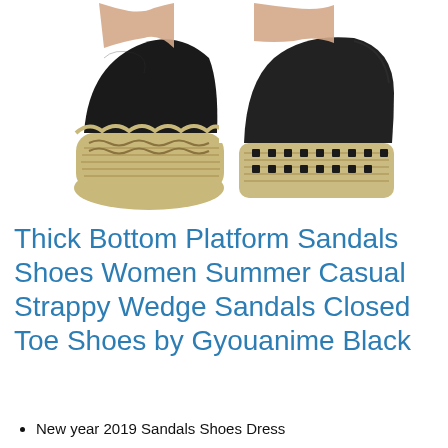[Figure (photo): Close-up photo of two black espadrille platform shoes with woven jute/rope soles, viewed from the heel/side angle. The shoes have a thick braided rope platform sole in beige/tan color with black stitching details. The uppers are black fabric. A person's bare feet/ankles are visible above the shoes.]
Thick Bottom Platform Sandals Shoes Women Summer Casual Strappy Wedge Sandals Closed Toe Shoes by Gyouanime Black
New year 2019 Sandals Shoes Dress